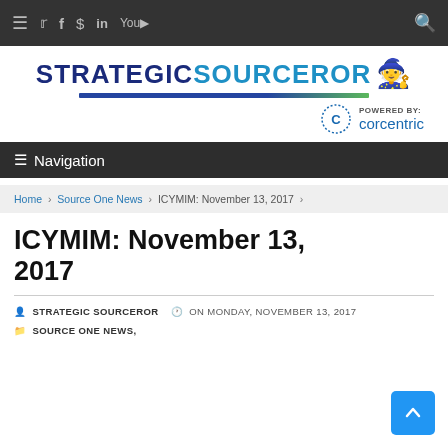Navigation bar with social icons: hamburger menu, Twitter, Facebook, $, LinkedIn, YouTube, search
[Figure (logo): StrategicSourceror logo powered by Corcentric, with blue and green underline]
≡ Navigation
Home > Source One News > ICYMIM: November 13, 2017 >
ICYMIM: November 13, 2017
STRATEGIC SOURCEROR   ON MONDAY, NOVEMBER 13, 2017   SOURCE ONE NEWS,